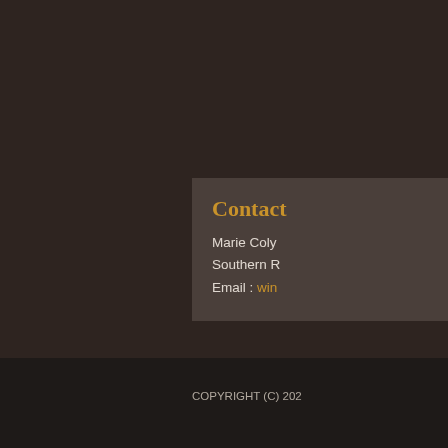Contact
Marie Coly
Southern R
Email : win
COPYRIGHT (C) 202